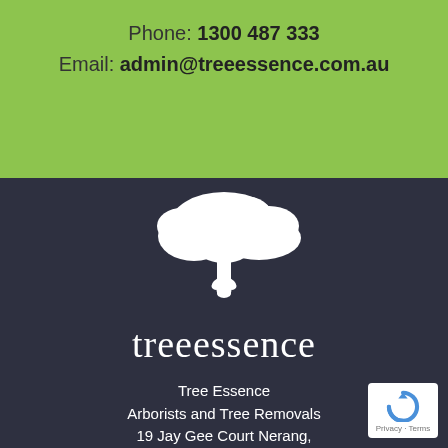Phone: 1300 487 333
Email: admin@treeessence.com.au
[Figure (logo): Tree Essence logo: white silhouette of a tree with a human figure integrated into the trunk, and the text 'treeessence' in white serif/sans-serif mixed font, on a dark background]
Tree Essence
Arborists and Tree Removals
19 Jay Gee Court Nerang,